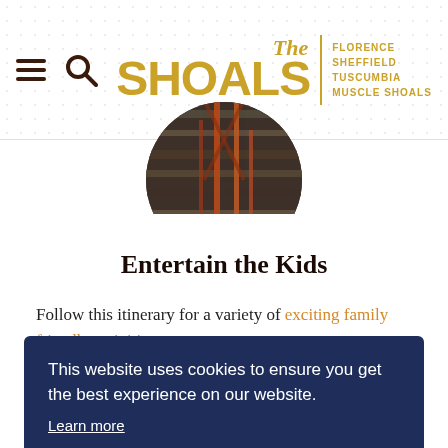The SHOALS | FLORENCE SHEFFIELD TUSCUMBIA MUSCLE SHOALS
[Figure (photo): Circular cropped photo showing industrial steel pipes or metal ceiling structure with orange/rust colored elements.]
Entertain the Kids
Follow this itinerary for a variety of exciting family friendly activities.
This website uses cookies to ensure you get the best experience on our website. Learn more
Got it!